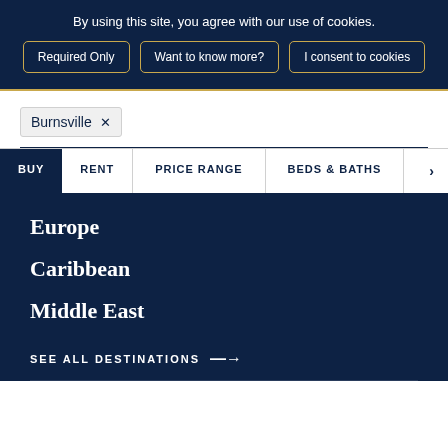By using this site, you agree with our use of cookies.
Required Only
Want to know more?
I consent to cookies
Burnsville ×
BUY   RENT
PRICE RANGE
BEDS & BATHS
Europe
Caribbean
Middle East
SEE ALL DESTINATIONS ——→